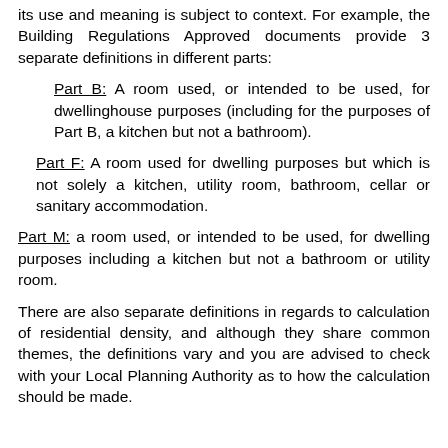its use and meaning is subject to context. For example, the Building Regulations Approved documents provide 3 separate definitions in different parts:
Part B: A room used, or intended to be used, for dwellinghouse purposes (including for the purposes of Part B, a kitchen but not a bathroom).
Part F: A room used for dwelling purposes but which is not solely a kitchen, utility room, bathroom, cellar or sanitary accommodation.
Part M: a room used, or intended to be used, for dwelling purposes including a kitchen but not a bathroom or utility room.
There are also separate definitions in regards to calculation of residential density, and although they share common themes, the definitions vary and you are advised to check with your Local Planning Authority as to how the calculation should be made.